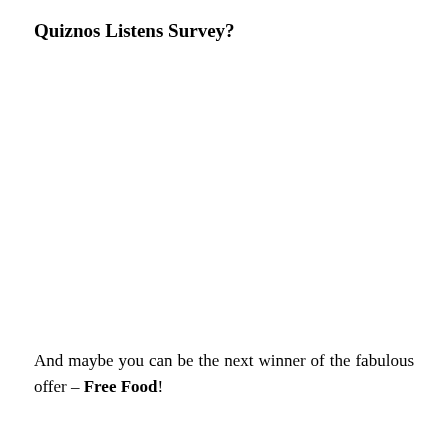Quiznos Listens Survey?
And maybe you can be the next winner of the fabulous offer – Free Food!